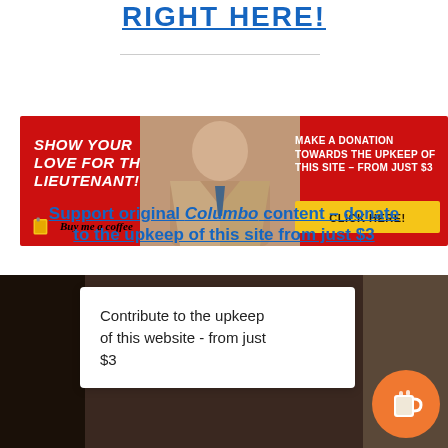RIGHT HERE!
[Figure (illustration): Promotional banner advertisement with red background showing a man in a trench coat, with text 'SHOW YOUR LOVE FOR THE LIEUTENANT!' on the left, 'MAKE A DONATION TOWARDS THE UPKEEP OF THIS SITE - FROM JUST $3' on the right, a yellow 'CLICK HERE!' button, and 'Buy me a coffee' logo at the bottom left.]
Support original Columbo content – donate to the upkeep of this site from just $3
[Figure (photo): Dark background photo with a white card overlay reading 'Contribute to the upkeep of this website - from just $3' and an orange circular coffee cup button in the bottom right.]